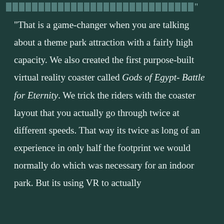“That is a game-changer when you are talking about a theme park attraction with a fairly high capacity. We also created the first purpose-built virtual reality coaster called Gods of Egypt- Battle for Eternity. We trick the riders with the coaster layout that you actually go through twice at different speeds. That way its twice as long of an experience in only half the footprint we would normally do which was necessary for an indoor park. But its using VR to actually